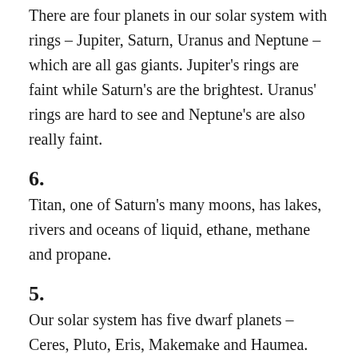There are four planets in our solar system with rings – Jupiter, Saturn, Uranus and Neptune – which are all gas giants. Jupiter's rings are faint while Saturn's are the brightest. Uranus' rings are hard to see and Neptune's are also really faint.
6.
Titan, one of Saturn's many moons, has lakes, rivers and oceans of liquid, ethane, methane and propane.
5.
Our solar system has five dwarf planets – Ceres, Pluto, Eris, Makemake and Haumea. Scientists believe that there may be dozens or possibly even 100 more dwarf planets in our solar system awaiting discovery.